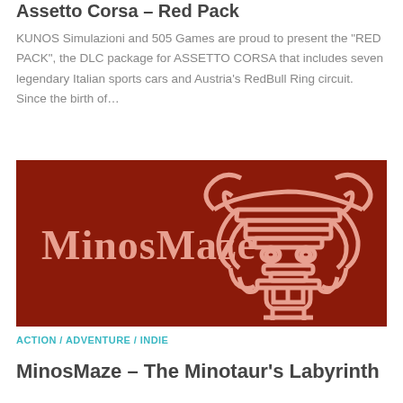Assetto Corsa – Red Pack
KUNOS Simulazioni and 505 Games are proud to present the "RED PACK", the DLC package for ASSETTO CORSA that includes seven legendary Italian sports cars and Austria's RedBull Ring circuit. Since the birth of…
[Figure (logo): MinosMaze logo on dark red background with maze-like minotaur graphic and text 'MinosMaze']
ACTION / ADVENTURE / INDIE
MinosMaze – The Minotaur's Labyrinth